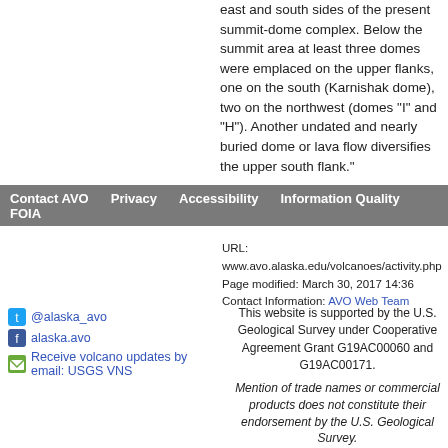east and south sides of the present summit-dome complex. Below the summit area at least three domes were emplaced on the upper flanks, one on the south (Karnishak dome), two on the northwest (domes "I" and "H"). Another undated and nearly buried dome or lava flow diversifies the upper south flank."
Contact AVO  Privacy  Accessibility  Information Quality  FOIA
URL: www.avo.alaska.edu/volcanoes/activity.php
Page modified: March 30, 2017 14:36
Contact Information: AVO Web Team
@alaska_avo
alaska.avo
Receive volcano updates by email: USGS VNS
This website is supported by the U.S. Geological Survey under Cooperative Agreement Grant G19AC00060 and G19AC00171.
Mention of trade names or commercial products does not constitute their endorsement by the U.S. Geological Survey.